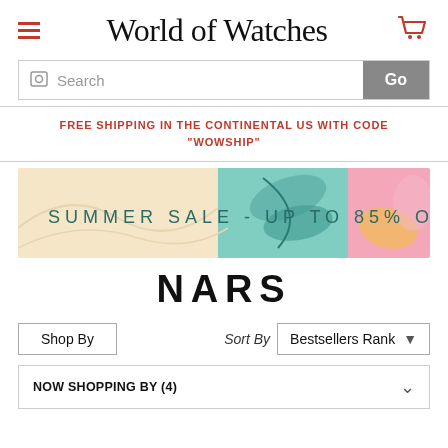World of Watches
Search
FREE SHIPPING IN THE CONTINENTAL US WITH CODE "WOWSHIP"
[Figure (illustration): Summer Sale banner with colorful tropical leaf background and text: SUMMER SALE - UP TO 85% OFF]
NARS
Shop By
Sort By  Bestsellers Rank
NOW SHOPPING BY (4)